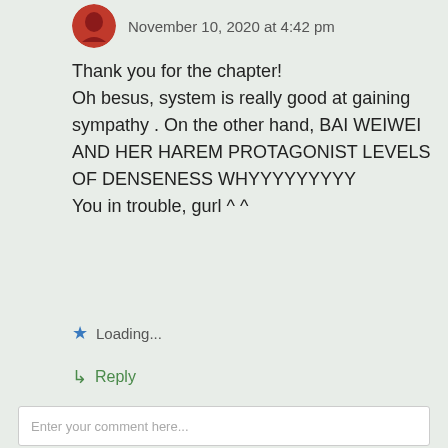November 10, 2020 at 4:42 pm
Thank you for the chapter!
Oh besus, system is really good at gaining sympathy . On the other hand, BAI WEIWEI AND HER HAREM PROTAGONIST LEVELS OF DENSENESS WHYYYYYYYYY
You in trouble, gurl ^ ^
Loading...
Reply
Leave a Reply
Enter your comment here...